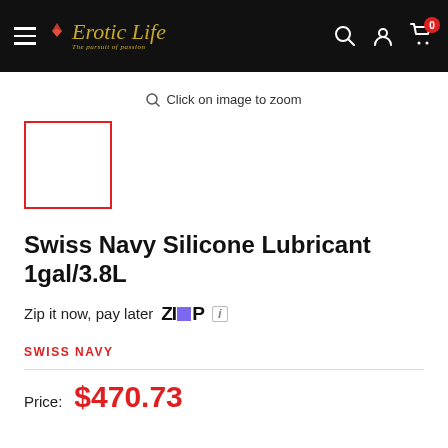Erotic Life – The pursuit of passion
Click on image to zoom
[Figure (photo): Product thumbnail placeholder – white box with red border]
Swiss Navy Silicone Lubricant 1gal/3.8L
Zip it now, pay later  ZIP  ℹ
SWISS NAVY
Price: $470.73